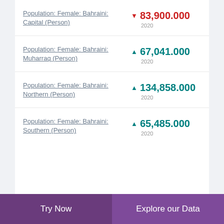Population: Female: Bahraini: Capital (Person)
Population: Female: Bahraini: Muharraq (Person)
Population: Female: Bahraini: Northern (Person)
Population: Female: Bahraini: Southern (Person)
Try Now | Explore our Data